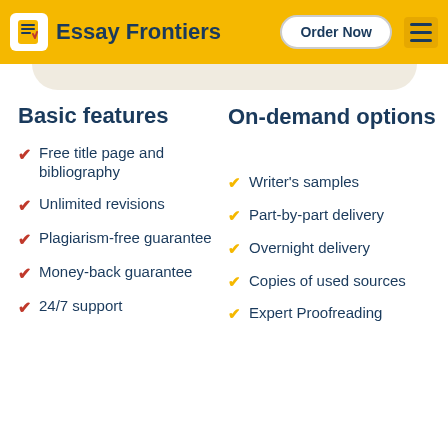Essay Frontiers | Order Now
Basic features
Free title page and bibliography
Unlimited revisions
Plagiarism-free guarantee
Money-back guarantee
24/7 support
On-demand options
Writer's samples
Part-by-part delivery
Overnight delivery
Copies of used sources
Expert Proofreading